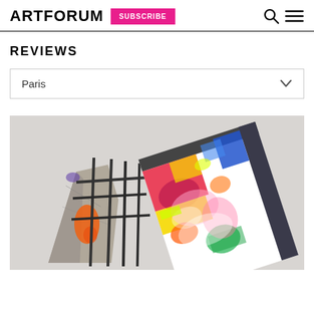ARTFORUM | SUBSCRIBE
REVIEWS
Paris
[Figure (photo): Sculpture artwork featuring a colorful painted block leaning at an angle on metal rebar, with a textured concrete and orange-painted fragment on the left side, against a light gray background.]